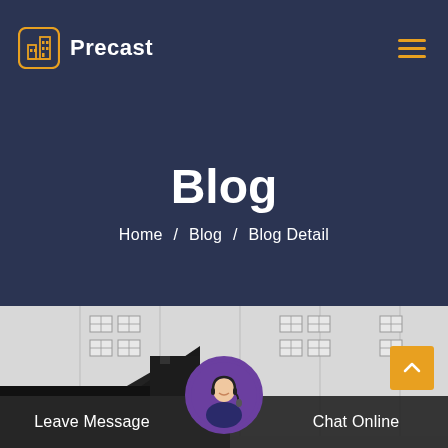Precast
Blog
Home / Blog / Blog Detail
[Figure (photo): Black and white photo of a precast concrete building / industrial facility with large windows and dark structural elements in the foreground]
Leave Message
Chat Online